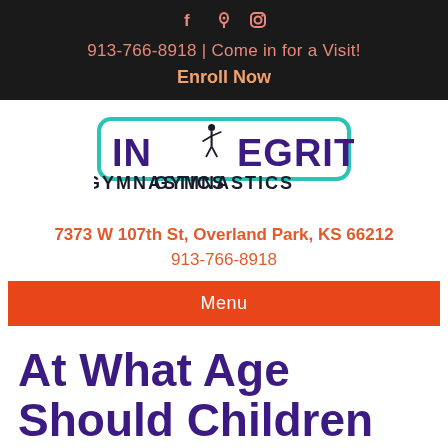f 📍 ⊙  913-766-8918 | Come in for a Visit!  Enroll Now
[Figure (logo): Integrity Gymnastics logo with gymnast silhouette and teal/purple lettering]
7373 W 107th St, Overland Park, KS 66212
913-766-8918
Menu
At What Age Should Children Begin Taking